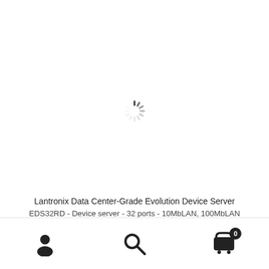[Figure (other): Loading spinner animation — a circular arrangement of short dark dashes indicating content is loading, centered on a white background]
Lantronix Data Center-Grade Evolution Device Server
EDS32RD - Device server - 32 ports - 10MbLAN, 100MbLAN
[Figure (other): Bottom navigation bar with three icons: user/account icon (person silhouette) on the left, search icon (magnifying glass) in the center, and shopping cart icon with badge showing 0 on the right]